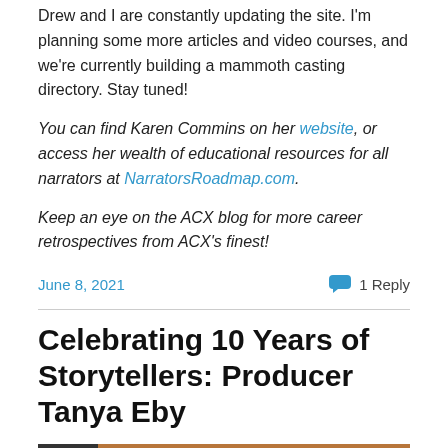Drew and I are constantly updating the site. I'm planning some more articles and video courses, and we're currently building a mammoth casting directory. Stay tuned!
You can find Karen Commins on her website, or access her wealth of educational resources for all narrators at NarratorsRoadmap.com.
Keep an eye on the ACX blog for more career retrospectives from ACX's finest!
June 8, 2021    1 Reply
Celebrating 10 Years of Storytellers: Producer Tanya Eby
[Figure (photo): Bottom strip showing two photos side by side: a dark/shadowed image on the left and a warm-toned portrait on the right]